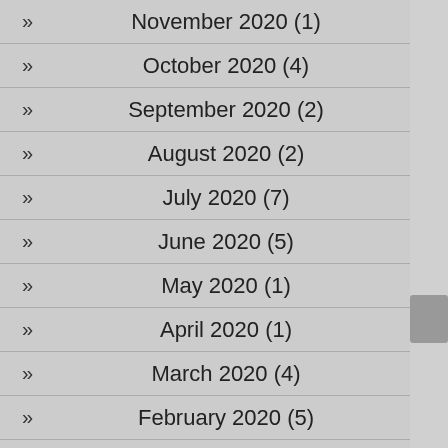November 2020 (1)
October 2020 (4)
September 2020 (2)
August 2020 (2)
July 2020 (7)
June 2020 (5)
May 2020 (1)
April 2020 (1)
March 2020 (4)
February 2020 (5)